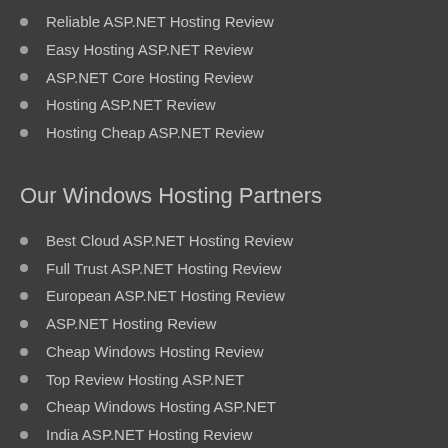Reliable ASP.NET Hosting Review
Easy Hosting ASP.NET Review
ASP.NET Core Hosting Review
Hosting ASP.NET Review
Hosting Cheap ASP.NET Review
Our Windows Hosting Partners
Best Cloud ASP.NET Hosting Review
Full Trust ASP.NET Hosting Review
European ASP.NET Hosting Review
ASP.NET Hosting Review
Cheap Windows Hosting Review
Top Review Hosting ASP.NET
Cheap Windows Hosting ASP.NET
India ASP.NET Hosting Review
Charcoal Export
UK ASP.NET Hosting Review
Australia ASP.NET Hosting Review
Discount Windows Hosting
Best Cheap ASP.NET Hosting Review
Reliable ASP.NET Hosting Review